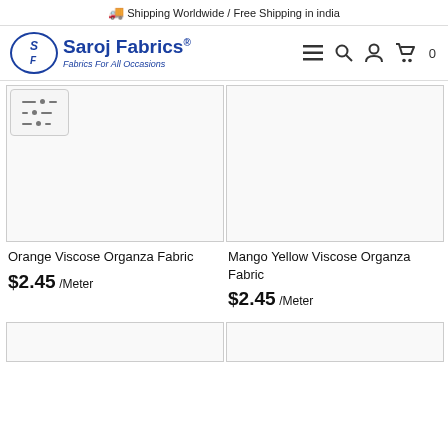🚚 Shipping Worldwide / Free Shipping in india
[Figure (logo): Saroj Fabrics logo — oval with SF monogram, blue text 'Saroj Fabrics®' and tagline 'Fabrics For All Occasions']
Orange Viscose Organza Fabric $2.45 /Meter
Mango Yellow Viscose Organza Fabric $2.45 /Meter